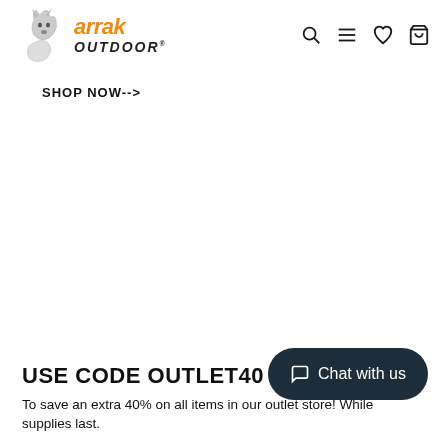[Figure (logo): Arrak Outdoor logo with wolf head illustration, orange 'arrak' italic text and dark 'outdoor' italic text]
[Figure (other): Navigation icons: search magnifier, hamburger menu, heart/wishlist, shopping cart]
SHOP NOW-->
Chat with us
USE CODE OUTLET40
To save an extra 40% on all items in our outlet store! While supplies last.